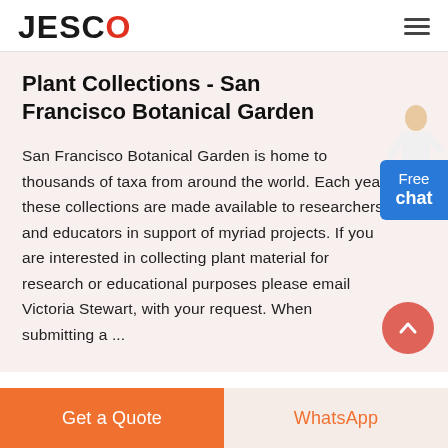JESCO
Plant Collections - San Francisco Botanical Garden
San Francisco Botanical Garden is home to thousands of taxa from around the world. Each year these collections are made available to researchers and educators in support of myriad projects. If you are interested in collecting plant material for research or educational purposes please email Victoria Stewart, with your request. When submitting a ...
[Figure (illustration): Person figure (customer service avatar) pointing, positioned top-right of content area]
Free chat
Get a Quote
WhatsApp